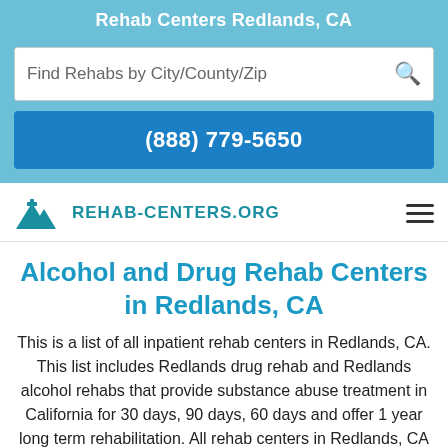Rehab Centers Redlands, CA
Find Rehabs by City/County/Zip
(888) 779-5650
[Figure (logo): REHAB-CENTERS.ORG logo with mountain icon]
Alcohol and Drug Rehab Centers in Redlands, CA
This is a list of all inpatient rehab centers in Redlands, CA. This list includes Redlands drug rehab and Redlands alcohol rehabs that provide substance abuse treatment in California for 30 days, 90 days, 60 days and offer 1 year long term rehabilitation. All rehab centers in Redlands, CA that are listed on this